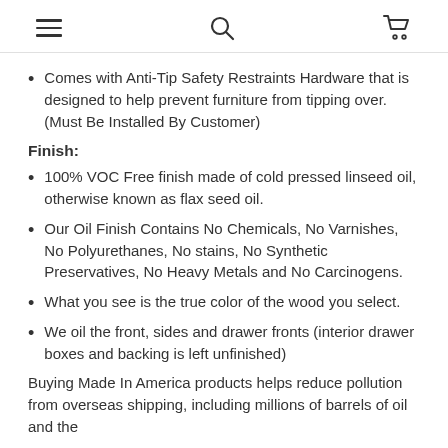Navigation header with hamburger menu, search, and cart icons
Comes with Anti-Tip Safety Restraints Hardware that is designed to help prevent furniture from tipping over. (Must Be Installed By Customer)
Finish:
100% VOC Free finish made of cold pressed linseed oil, otherwise known as flax seed oil.
Our Oil Finish Contains No Chemicals, No Varnishes, No Polyurethanes, No stains, No Synthetic Preservatives, No Heavy Metals and No Carcinogens.
What you see is the true color of the wood you select.
We oil the front, sides and drawer fronts (interior drawer boxes and backing is left unfinished)
Buying Made In America products helps reduce pollution from overseas shipping, including millions of barrels of oil and the